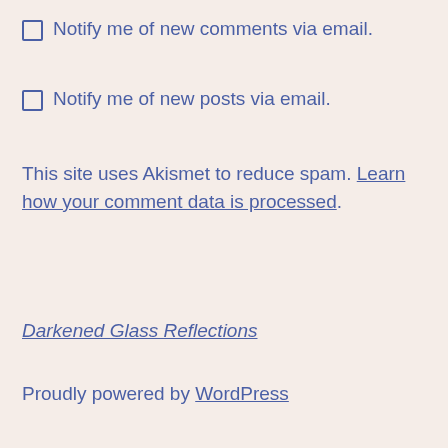Notify me of new comments via email.
Notify me of new posts via email.
This site uses Akismet to reduce spam. Learn how your comment data is processed.
Darkened Glass Reflections
Proudly powered by WordPress